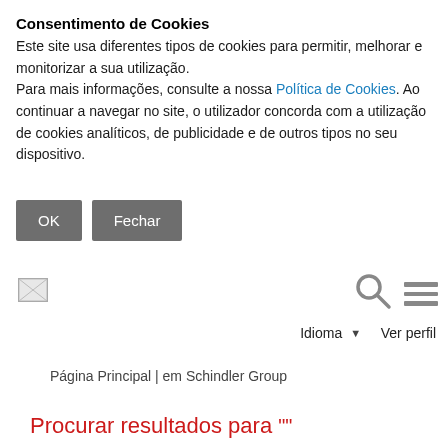Consentimento de Cookies
Este site usa diferentes tipos de cookies para permitir, melhorar e monitorizar a sua utilização.
Para mais informações, consulte a nossa Política de Cookies. Ao continuar a navegar no site, o utilizador concorda com a utilização de cookies analíticos, de publicidade e de outros tipos no seu dispositivo.
[Figure (other): Two buttons: 'OK' and 'Fechar' (gray background, white text)]
[Figure (logo): Broken image placeholder (logo area)]
[Figure (other): Search icon (magnifying glass) and hamburger menu icon]
Idioma ▾  Ver perfil
Página Principal | em Schindler Group
Procurar resultados para ""